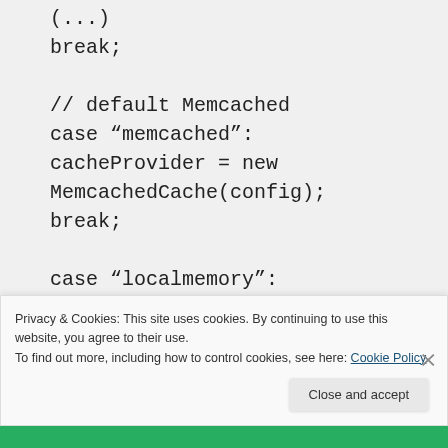(...)
break;

// default Memcached
case "memcached":
cacheProvider = new MemcachedCache(config);
break;

case "localmemory":
cacheProvider = new MemoryCache();
Privacy & Cookies: This site uses cookies. By continuing to use this website, you agree to their use.
To find out more, including how to control cookies, see here: Cookie Policy
Close and accept